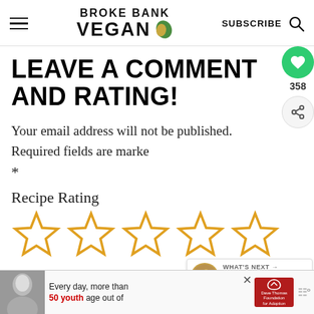BROKE BANK VEGAN
LEAVE A COMMENT AND RATING!
Your email address will not be published. Required fields are marked *
Recipe Rating
[Figure (other): Five empty star rating icons in gold/orange outline style]
[Figure (other): Advertisement banner: Every day, more than 50 youth age out of [Dave Thomas Foundation for Adoption]]